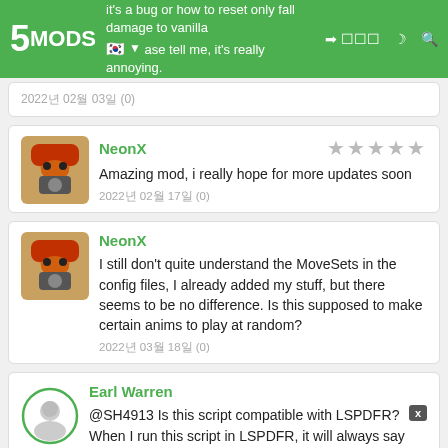5MODS — it's a bug or how to reset only fall damage to vanilla, please tell me, it's really annoying.
2022년 02월 03일 (0)
NeonX — Amazing mod, i really hope for more updates soon — 2022년 02월 17일 (0)
NeonX — I still don't quite understand the MoveSets in the config files, I already added my stuff, but there seems to be no difference. Is this supposed to make certain anims to play at random? — 2022년 03월 18일 (0)
Earl Warren — @SH4913 Is this script compatible with LSPDFR? When I run this script in LSPDFR, it will always say my health is 100%. Also, I am unable to bandage myself. Is there something I am missing?